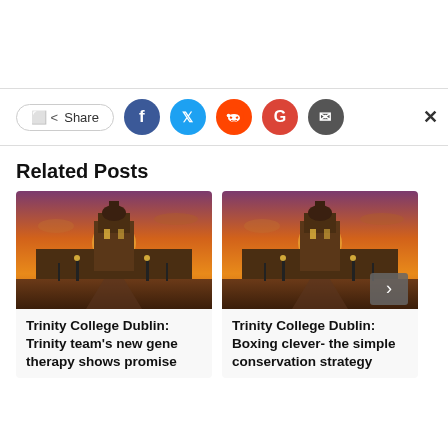[Figure (infographic): Share bar with social media buttons: Share, Facebook (blue), Twitter (cyan), Reddit (orange-red), Google (red), Email (dark gray), and close X button]
Related Posts
[Figure (photo): Trinity College Dublin at sunset with orange sky, cobblestone path, lamp posts, and Georgian building]
Trinity College Dublin: Trinity team's new gene therapy shows promise
[Figure (photo): Trinity College Dublin at sunset with orange sky, cobblestone path, lamp posts, and Georgian building (same image)]
Trinity College Dublin: Boxing clever- the simple conservation strategy